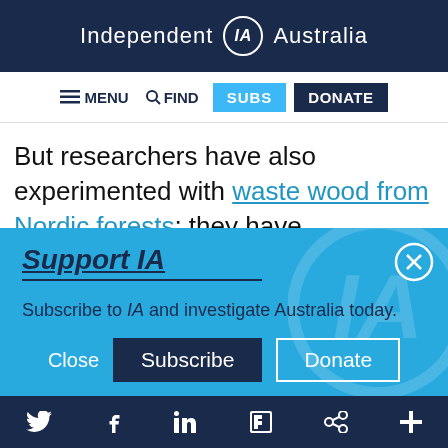Independent IA Australia
≡ MENU  🔍 FIND  SUBS  DONATE
But researchers have also experimented with waste wood from Nordic forests; they have accelerated the natural effect of time and
Support IA
Subscribe to IA and investigate Australia today.
Close  Subscribe  Donate
Twitter  Facebook  LinkedIn  Flipboard  Share  More